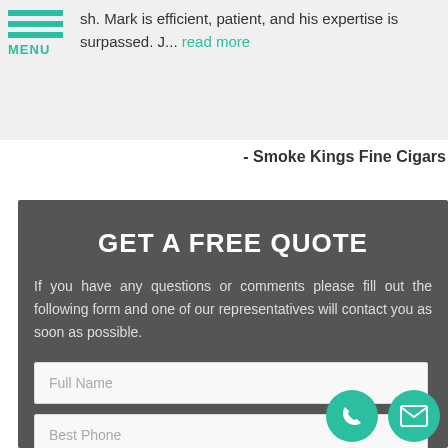sh. Mark is efficient, patient, and his expertise is surpassed. J... read more
- Smoke Kings Fine Cigars
GET A FREE QUOTE
If you have any questions or comments please fill out the following form and one of our representatives will contact you as soon as possible.
Full Name
Best Phone
Email Address
What type and size of signage do you need?